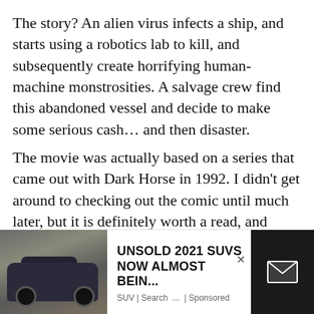The story? An alien virus infects a ship, and starts using a robotics lab to kill, and subsequently create horrifying human-machine monstrosities. A salvage crew find this abandoned vessel and decide to make some serious cash… and then disaster.
The movie was actually based on a series that came out with Dark Horse in 1992. I didn't get around to checking out the comic until much later, but it is definitely worth a read, and available in a collected paperback.
[Figure (infographic): Advertisement banner at bottom of page showing a dark SUV car on the left, ad text 'UNSOLD 2021 SUVS NOW ALMOST BEIN...' with 'SUV | Search ... | Sponsored' below, a close button X, and a dark email/envelope icon box on the right.]